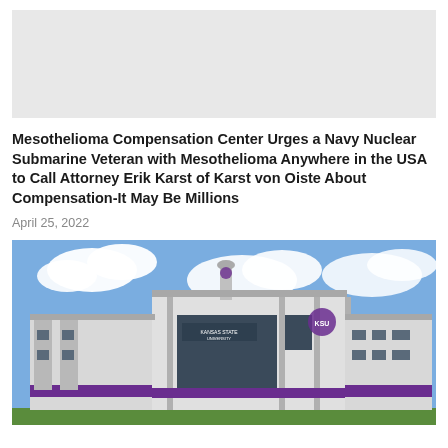[Figure (photo): Gray placeholder/advertisement banner image at the top of the page]
Mesothelioma Compensation Center Urges a Navy Nuclear Submarine Veteran with Mesothelioma Anywhere in the USA to Call Attorney Erik Karst of Karst von Oiste About Compensation-It May Be Millions
April 25, 2022
[Figure (photo): Photograph of a Kansas State University building with a white and gray exterior, purple accent stripe, blue sky with clouds in the background]